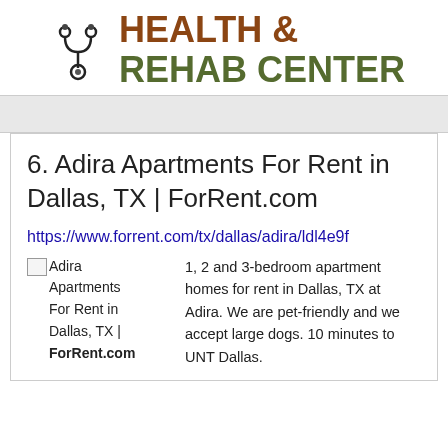[Figure (logo): Health & Rehab Center logo with stethoscope icon and bold text]
6. Adira Apartments For Rent in Dallas, TX | ForRent.com
https://www.forrent.com/tx/dallas/adira/ldl4e9f
[Figure (other): Broken image thumbnail labeled: Adira Apartments For Rent in Dallas, TX | ForRent.com]
1, 2 and 3-bedroom apartment homes for rent in Dallas, TX at Adira. We are pet-friendly and we accept large dogs. 10 minutes to UNT Dallas.